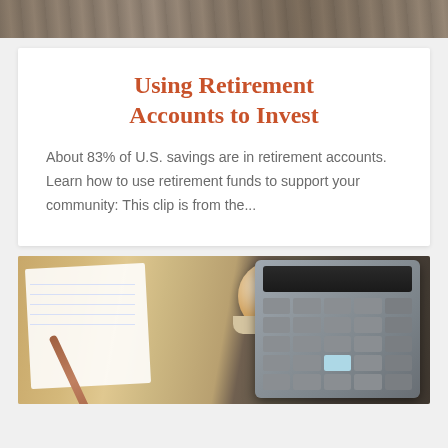[Figure (photo): Top cropped photo showing a wooden surface with a blurred animal or object, warm gray-brown tones.]
Using Retirement Accounts to Invest
About 83% of U.S. savings are in retirement accounts. Learn how to use retirement funds to support your community: This clip is from the...
[Figure (photo): Photo of a calculator, coffee cup, notebook, and pen on a wooden desk surface.]